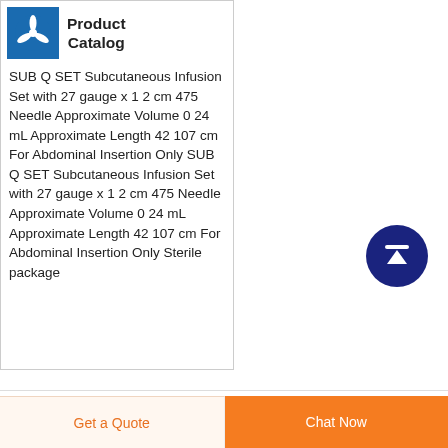Product Catalog
SUB Q SET Subcutaneous Infusion Set with 27 gauge x 1 2 cm 475 Needle Approximate Volume 0 24 mL Approximate Length 42 107 cm For Abdominal Insertion Only SUB Q SET Subcutaneous Infusion Set with 27 gauge x 1 2 cm 475 Needle Approximate Volume 0 24 mL Approximate Length 42 107 cm For Abdominal Insertion Only Sterile package
[Figure (logo): Blue square logo with white medical/star-of-life style icon]
[Figure (other): Dark navy blue circular scroll-to-top arrow button]
Get a Quote
Chat Now